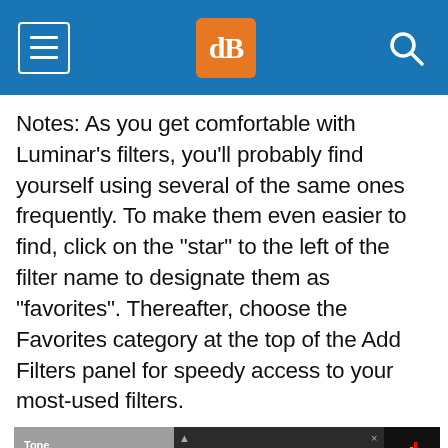dPS [logo] — navigation header bar
Notes: As you get comfortable with Luminar’s filters, you’ll probably find yourself using several of the same ones frequently. To make them even easier to find, click on the “star” to the left of the filter name to designate them as “favorites”. Thereafter, choose the Favorites category at the top of the Add Filters panel for speedy access to your most-used filters.
[Figure (screenshot): Screenshot showing a Luminar interface with Tone panel on the left describing 'Adjusts overall brightness and contrast. Helps to provide tonal balance and a unique', an Add Filters panel in the center dark panel with Favorites and Recent tabs, and a histogram on the right side.]